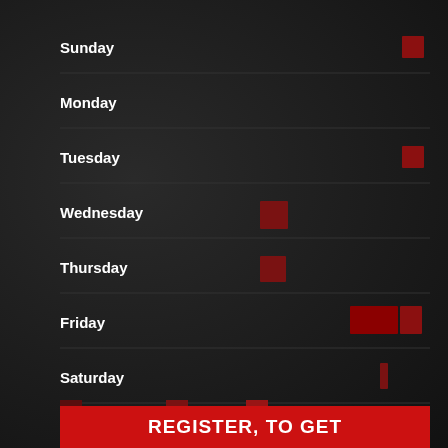[Figure (bar-chart): Day of week activity frequency]
very rarely   rarely   sometimes   often   very often
REGISTER, TO GET